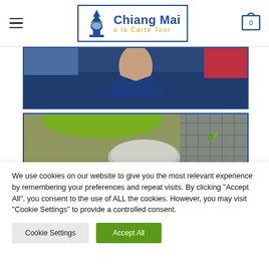Chiang Mai a la Carte Tour – Navigation header with logo and cart icon
[Figure (photo): Cropped photo showing person wearing dark blue shirt, neck/lower face area visible]
[Figure (photo): Cropped photo showing person with grey/white hair, green and coloured background visible]
We use cookies on our website to give you the most relevant experience by remembering your preferences and repeat visits. By clicking "Accept All", you consent to the use of ALL the cookies. However, you may visit "Cookie Settings" to provide a controlled consent.
Cookie Settings | Accept All